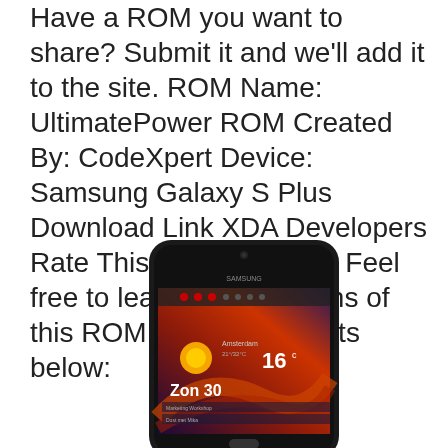Have a ROM you want to share? Submit it and we'll add it to the site. ROM Name: UltimatePower ROM Created By: CodeXpert Device: Samsung Galaxy S Plus Download Link XDA Developers Rate This ROM: [ratings] Feel free to leave your opinions of this ROM in the comments below:
[Figure (photo): Samsung Galaxy S Plus smartphone showing a weather app with Amsterdam, 16 degrees, Zon 30, and a colorful abstract background with orange/red swirls]